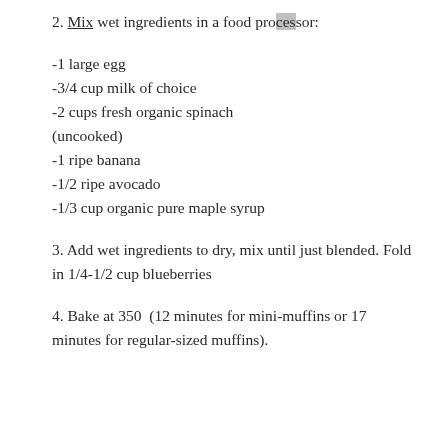2. Mix wet ingredients in a food processor:
-1 large egg
-3/4 cup milk of choice
-2 cups fresh organic spinach (uncooked)
-1 ripe banana
-1/2 ripe avocado
-1/3 cup organic pure maple syrup
3. Add wet ingredients to dry, mix until just blended. Fold in 1/4-1/2 cup blueberries
4. Bake at 350  (12 minutes for mini-muffins or 17 minutes for regular-sized muffins).